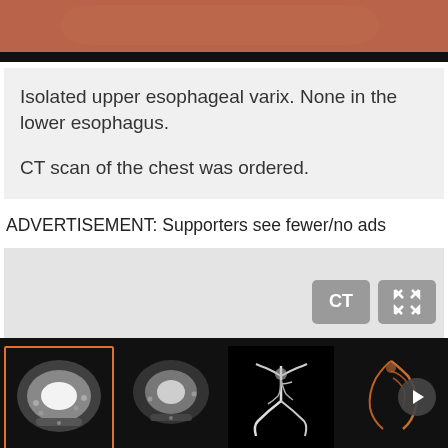[Figure (photo): Top portion of a medical/endoscopic image showing brownish-red tissue, partially cropped at top of page.]
Isolated upper esophageal varix. None in the lower esophagus.

CT scan of the chest was ordered.
ADVERTISEMENT: Supporters see fewer/no ads
[Figure (screenshot): CT viewer interface panel with a grey background, showing CT label button and fullscreen icon button.]
[Figure (photo): Medical CT scan thumbnail strip on black background. Four CT scan thumbnails: first (selected with orange border) labeled 'Axial C+ arterial phase', second labeled 'Axial C+ arterial phase', third labeled 'Coronal MIP', fourth labeled 'Cor...' (truncated). A play button circle is visible at far right.]